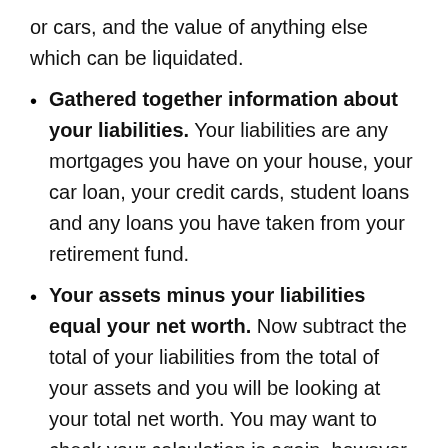or cars, and the value of anything else which can be liquidated.
Gathered together information about your liabilities. Your liabilities are any mortgages you have on your house, your car loan, your credit cards, student loans and any loans you have taken from your retirement fund.
Your assets minus your liabilities equal your net worth. Now subtract the total of your liabilities from the total of your assets and you will be looking at your total net worth. You may want to check your calculation is again, however it is entirely